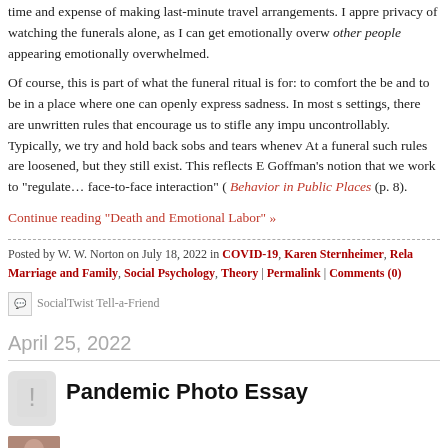time and expense of making last-minute travel arrangements. I appre privacy of watching the funerals alone, as I can get emotionally overw other people appearing emotionally overwhelmed.
Of course, this is part of what the funeral ritual is for: to comfort the be and to be in a place where one can openly express sadness. In most s settings, there are unwritten rules that encourage us to stifle any impu uncontrollably. Typically, we try and hold back sobs and tears whenev At a funeral such rules are loosened, but they still exist. This reflects E Goffman's notion that we work to "regulate… face-to-face interaction" ( Behavior in Public Places (p. 8).
Continue reading "Death and Emotional Labor" »
Posted by W. W. Norton on July 18, 2022 in COVID-19, Karen Sternheimer, Relat Marriage and Family, Social Psychology, Theory | Permalink | Comments (0)
SocialTwist Tell-a-Friend
April 25, 2022
Pandemic Photo Essay
By Todd Schoepflin